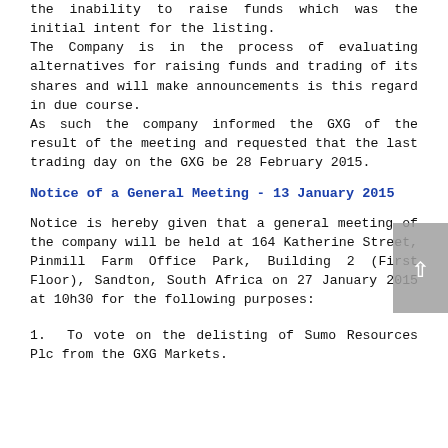The decision to delist was based mainly on the inability to raise funds which was the initial intent for the listing. The Company is in the process of evaluating alternatives for raising funds and trading of its shares and will make announcements is this regard in due course. As such the company informed the GXG of the result of the meeting and requested that the last trading day on the GXG be 28 February 2015.
Notice of a General Meeting - 13 January 2015
Notice is hereby given that a general meeting of the company will be held at 164 Katherine Street, Pinmill Farm Office Park, Building 2 (First Floor), Sandton, South Africa on 27 January 2015 at 10h30 for the following purposes:
1.  To vote on the delisting of Sumo Resources Plc from the GXG Markets.